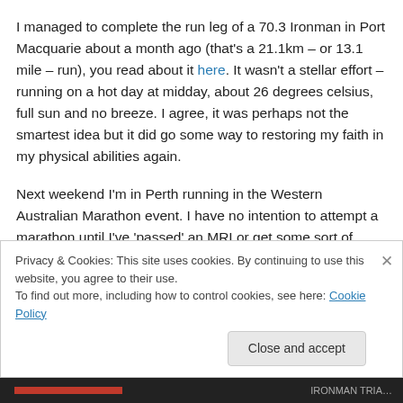I managed to complete the run leg of a 70.3 Ironman in Port Macquarie about a month ago (that's a 21.1km – or 13.1 mile – run), you read about it here. It wasn't a stellar effort – running on a hot day at midday, about 26 degrees celsius, full sun and no breeze. I agree, it was perhaps not the smartest idea but it did go some way to restoring my faith in my physical abilities again.
Next weekend I'm in Perth running in the Western Australian Marathon event. I have no intention to attempt a marathon until I've 'passed' an MRI or get some sort of
Privacy & Cookies: This site uses cookies. By continuing to use this website, you agree to their use.
To find out more, including how to control cookies, see here: Cookie Policy